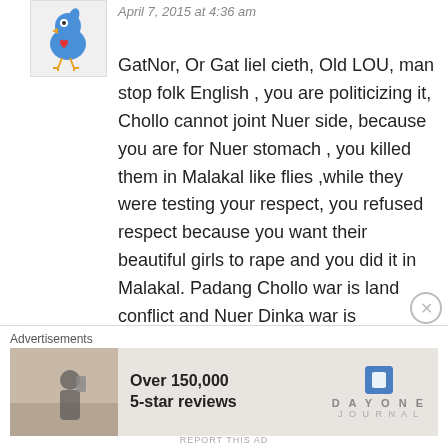April 7, 2015 at 4:36 am
GatNor, Or Gat liel cieth, Old LOU, man stop folk English , you are politicizing it, Chollo cannot joint Nuer side, because you are for Nuer stomach , you killed them in Malakal like flies ,while they were testing your respect, you refused respect because you want their beautiful girls to rape and you did it in Malakal. Padang Chollo war is land conflict and Nuer Dinka war is leadership grabbing war, because our Nuer nature is taking things by force and killed the owner. Dinka and Chollo
Advertisements
Over 150,000
5-star reviews
DAYONE
JOURNAL